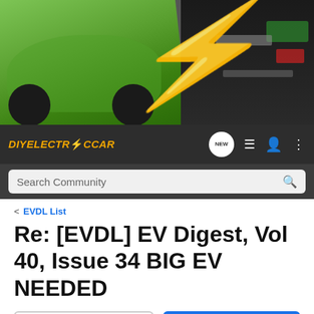[Figure (photo): Banner image showing a green electric race car on a track on the left, a large yellow lightning bolt in the center, and electronic components/wiring on the right, against a dark background.]
[Figure (logo): DIYELECTRiCCAR logo in orange/yellow italic text with navigation icons: NEW speech bubble, list icon, user icon, and kebab menu.]
Search Community
< EVDL List
Re: [EVDL] EV Digest, Vol 40, Issue 34 BIG EV NEEDED
→ Jump to Latest
+ Follow
1 - 1 of 1 Posts